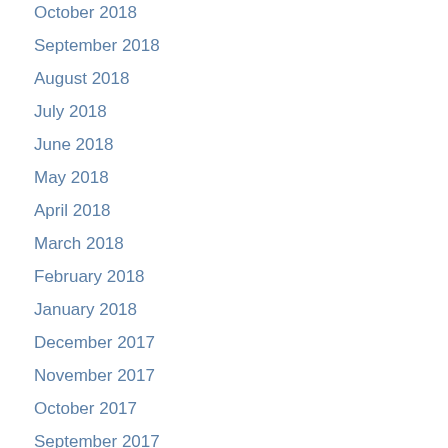October 2018
September 2018
August 2018
July 2018
June 2018
May 2018
April 2018
March 2018
February 2018
January 2018
December 2017
November 2017
October 2017
September 2017